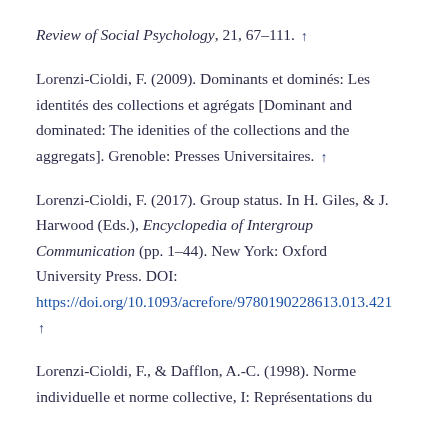Review of Social Psychology, 21, 67–111. ↑
Lorenzi-Cioldi, F. (2009). Dominants et dominés: Les identités des collections et agrégats [Dominant and dominated: The idenities of the collections and the aggregats]. Grenoble: Presses Universitaires. ↑
Lorenzi-Cioldi, F. (2017). Group status. In H. Giles, & J. Harwood (Eds.), Encyclopedia of Intergroup Communication (pp. 1–44). New York: Oxford University Press. DOI: https://doi.org/10.1093/acrefore/9780190228613.013.421 ↑
Lorenzi-Cioldi, F., & Dafflon, A.-C. (1998). Norme individuelle et norme collective, I: Représentations du